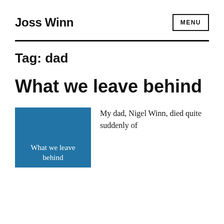Joss Winn
Tag: dad
What we leave behind
[Figure (illustration): Blue book cover with white serif text reading 'What we leave behind']
My dad, Nigel Winn, died quite suddenly of